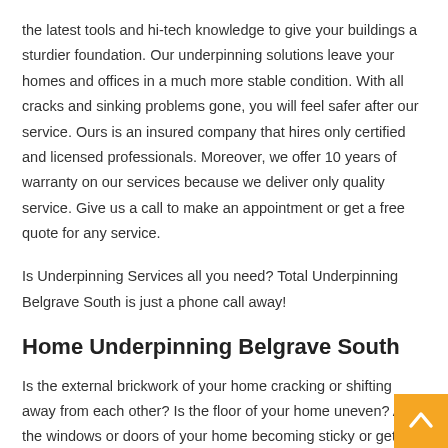the latest tools and hi-tech knowledge to give your buildings a sturdier foundation. Our underpinning solutions leave your homes and offices in a much more stable condition. With all cracks and sinking problems gone, you will feel safer after our service. Ours is an insured company that hires only certified and licensed professionals. Moreover, we offer 10 years of warranty on our services because we deliver only quality service. Give us a call to make an appointment or get a free quote for any service.
Is Underpinning Services all you need? Total Underpinning Belgrave South is just a phone call away!
Home Underpinning Belgrave South
Is the external brickwork of your home cracking or shifting away from each other? Is the floor of your home uneven? Are the windows or doors of your home becoming sticky or getting jammed? Are you looking for an experienced and professional underpinning consultant to fix the all underpinning problems at